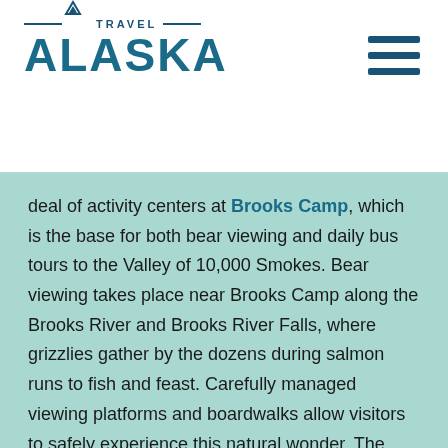[Figure (logo): Travel Alaska logo with mountain icon, horizontal lines flanking 'TRAVEL' text, and large 'ALASKA' wordmark in teal blue]
[Figure (other): Hamburger menu icon with three horizontal dark blue bars]
deal of activity centers at Brooks Camp, which is the base for both bear viewing and daily bus tours to the Valley of 10,000 Smokes. Bear viewing takes place near Brooks Camp along the Brooks River and Brooks River Falls, where grizzlies gather by the dozens during salmon runs to fish and feast. Carefully managed viewing platforms and boardwalks allow visitors to safely experience this natural wonder. The outstanding fishing at Brooks Camp and at wilderness fishing lodges scattered throughout the park also attracts sport anglers from around the world.